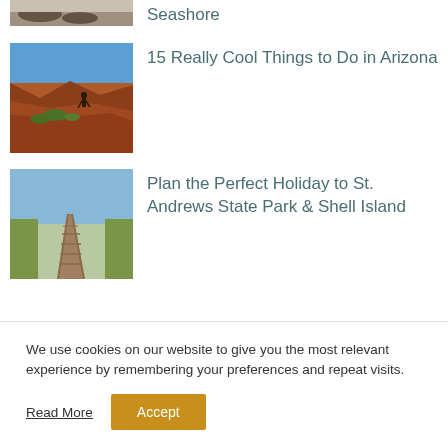[Figure (photo): Partial view of a sandy seashore with dark rocks/seaweed, cropped at top]
Seashore
[Figure (photo): Person standing on red rock canyon edge overlooking Grand Canyon-like landscape in Arizona under blue sky]
15 Really Cool Things to Do in Arizona
[Figure (photo): Wooden boardwalk extending into grassy dunes area with blue sky, St. Andrews State Park style beach]
Plan the Perfect Holiday to St. Andrews State Park & Shell Island
We use cookies on our website to give you the most relevant experience by remembering your preferences and repeat visits.
Read More
Accept